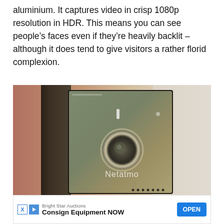aluminium. It captures video in crisp 1080p resolution in HDR. This means you can see people's faces even if they're heavily backlit – although it does tend to give visitors a rather florid complexion.
[Figure (photo): Close-up photo of a Netatmo video doorbell device showing its camera lens and brushed metal/dark housing with the Netatmo brand name visible on the front panel]
And it's one of the few video doorbells on the market to support Apple HomeKit. This has a number of benefits. It
mean ... Netatmo ... wing (partial, obscured by advertisement overlay)